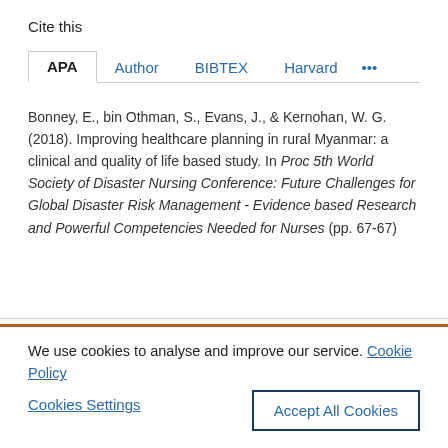Cite this
APA  Author  BIBTEX  Harvard  ...
Bonney, E., bin Othman, S., Evans, J., & Kernohan, W. G. (2018). Improving healthcare planning in rural Myanmar: a clinical and quality of life based study. In Proc 5th World Society of Disaster Nursing Conference: Future Challenges for Global Disaster Risk Management - Evidence based Research and Powerful Competencies Needed for Nurses (pp. 67-67)
We use cookies to analyse and improve our service. Cookie Policy
Cookies Settings
Accept All Cookies